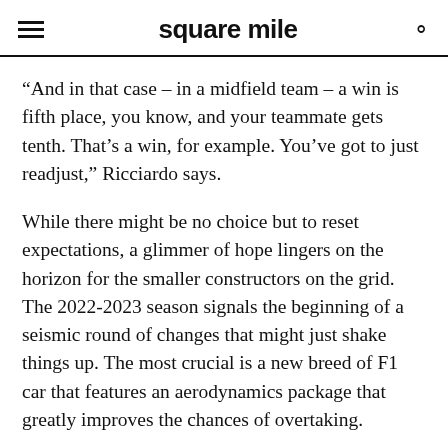square mile
“And in that case – in a midfield team – a win is fifth place, you know, and your teammate gets tenth. That’s a win, for example. You’ve got to just readjust,” Ricciardo says.
While there might be no choice but to reset expectations, a glimmer of hope lingers on the horizon for the smaller constructors on the grid. The 2022-2023 season signals the beginning of a seismic round of changes that might just shake things up. The most crucial is a new breed of F1 car that features an aerodynamics package that greatly improves the chances of overtaking.